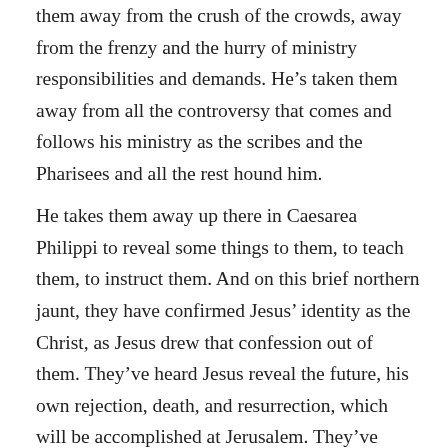them away from the crush of the crowds, away from the frenzy and the hurry of ministry responsibilities and demands. He's taken them away from all the controversy that comes and follows his ministry as the scribes and the Pharisees and all the rest hound him.

He takes them away up there in Caesarea Philippi to reveal some things to them, to teach them, to instruct them. And on this brief northern jaunt, they have confirmed Jesus' identity as the Christ, as Jesus drew that confession out of them. They've heard Jesus reveal the future, his own rejection, death, and resurrection, which will be accomplished at Jerusalem. They've heard the nature of discipleship—all about self-denial, cross-bearing, following Christ in obedience. Some of them have even seen Jesus true glory revealed. All of them